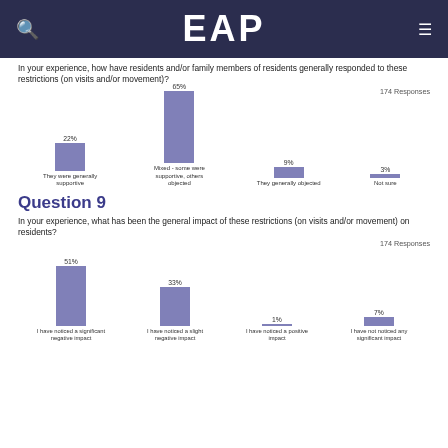EAP
In your experience, how have residents and/or family members of residents generally responded to these restrictions (on visits and/or movement)?
174 Responses
[Figure (bar-chart): ]
Question 9
In your experience, what has been the general impact of these restrictions (on visits and/or movement) on residents?
174 Responses
[Figure (bar-chart): ]